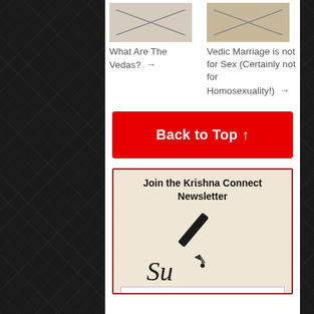What Are The Vedas? →
Vedic Marriage is not for Sex (Certainly not for Homosexuality!) →
Back to Top ↑
Join the Krishna Connect Newsletter
[Figure (illustration): Pen writing cursive letter 'Su' on beige background, illustrating signing up for newsletter]
Name